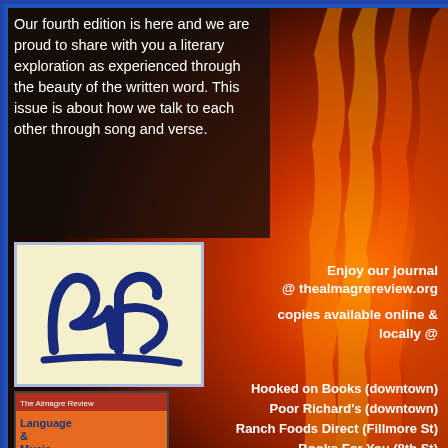Our fourth edition is here and we are proud to share with you a literary exploration as experienced through the beauty of the written word. This issue is about how we talk to each other through song and verse.
[Figure (logo): Almagre Review logo — stylized 'ar' letters in dark navy blue on a light yellow/cream background, with a blue border]
[Figure (illustration): Book cover of The Almagre Review: Language & Music issue, featuring a drawing of two figures, orange background, with small AR logo at bottom]
Enjoy our journal @ thealmagrereview.org
copies available online & locally @
Hooked on Books (downtown)
Poor Richard's (downtown)
Ranch Foods Direct (Fillmore St)
Books For You (8th St)
Independent Records (Platte)